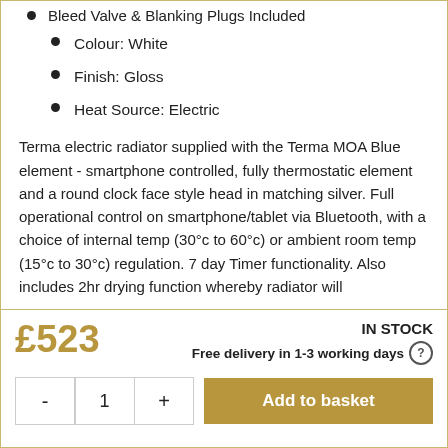Bleed Valve & Blanking Plugs Included
Colour: White
Finish: Gloss
Heat Source: Electric
Terma electric radiator supplied with the Terma MOA Blue element - smartphone controlled, fully thermostatic element and a round clock face style head in matching silver. Full operational control on smartphone/tablet via Bluetooth, with a choice of internal temp (30°c to 60°c) or ambient room temp (15°c to 30°c) regulation. 7 day Timer functionality. Also includes 2hr drying function whereby radiator will
£523
IN STOCK
Free delivery in 1-3 working days
Add to basket